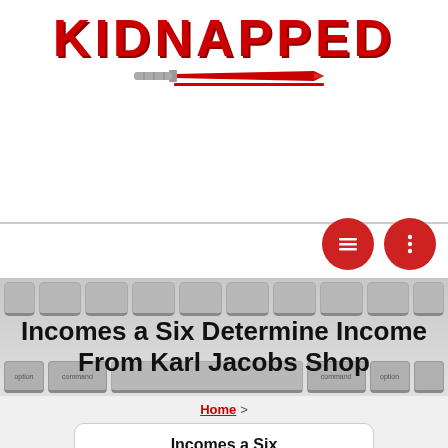[Figure (logo): KIDNAPPED logo in bold red text with a knife/dagger graphic underneath]
[Figure (illustration): Two red circular icon buttons: hamburger menu icon and vertical dots (more options) icon]
[Figure (photo): Keyboard background image with headline text overlay reading: Incomes a Six Determine Income From Karl Jacobs Shop]
Incomes a Six Determine Income From Karl Jacobs Shop
Home > Incomes a Six Determine Income From Karl Jacobs Shop